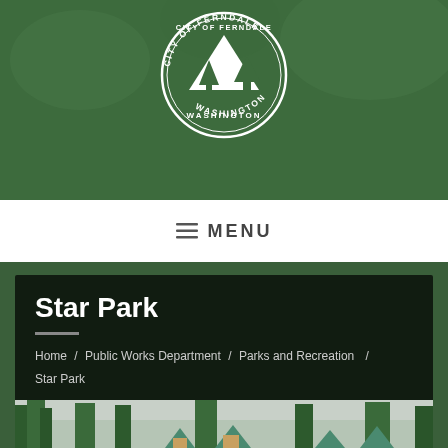[Figure (logo): City of Ferndale Washington circular seal with mountain and tree imagery, white on green background]
≡ MENU
Star Park
Home / Public Works Department / Parks and Recreation / Star Park
[Figure (photo): Outdoor playground at Star Park with green conical roof structures and tall trees in the background, overcast sky]